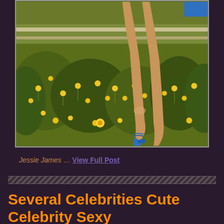[Figure (photo): Photo of Jessie James showing legs among yellow wildflowers with a fence and blue heels visible]
Jessie James … View Full Post
[Figure (other): Diagonal stripe divider bar]
Several Celebrities Cute Celebrity Sexy